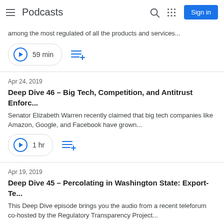Podcasts
among the most regulated of all the products and services...
59 min
Apr 24, 2019
Deep Dive 46 – Big Tech, Competition, and Antitrust Enforc...
Senator Elizabeth Warren recently claimed that big tech companies like Amazon, Google, and Facebook have grown...
1 hr
Apr 19, 2019
Deep Dive 45 – Percolating in Washington State: Export-Te...
This Deep Dive episode brings you the audio from a recent teleforum co-hosted by the Regulatory Transparency Project...
52 min